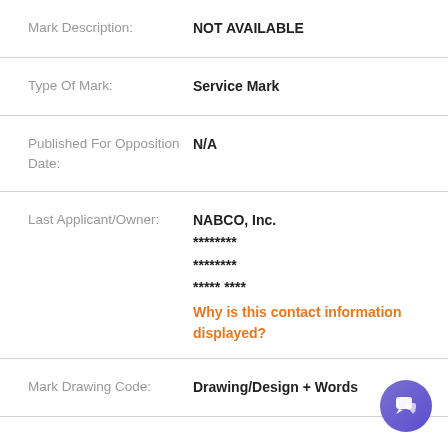Mark Description: NOT AVAILABLE
Type Of Mark: Service Mark
Published For Opposition Date: N/A
Last Applicant/Owner: NABCO, Inc. ******** ******** ***** **** Why is this contact information displayed?
Mark Drawing Code: Drawing/Design + Words